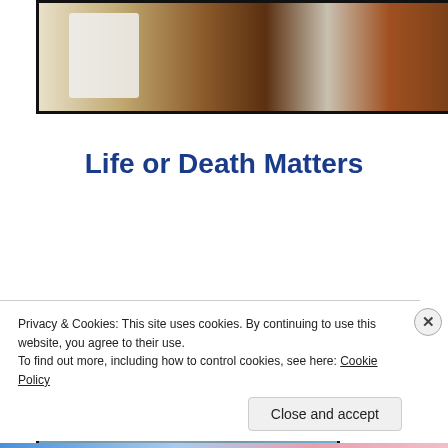[Figure (photo): A person in a white protective suit working near oil-covered rocks and debris, likely an oil spill cleanup scene]
Life or Death Matters
[Figure (photo): Industrial smokestack or factory emitting dark smoke against a blue sky]
Privacy & Cookies: This site uses cookies. By continuing to use this website, you agree to their use.
To find out more, including how to control cookies, see here: Cookie Policy
Close and accept